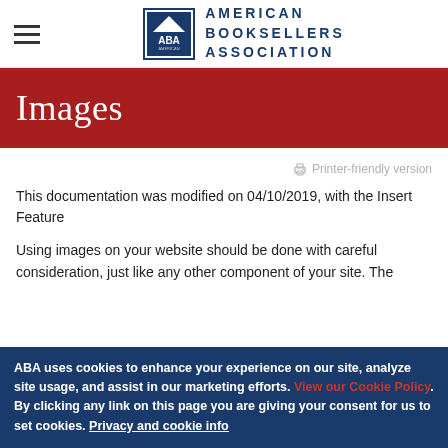American Booksellers Association logo and navigation
Images
Printer-friendly version
This documentation was modified on 04/10/2019, with the Insert Feature
Using images on your website should be done with careful consideration, just like any other component of your site. The
ABA uses cookies to enhance your experience on our site, analyze site usage, and assist in our marketing efforts. View our Cookie Policy. By clicking any link on this page you are giving your consent for us to set cookies. Privacy and cookie info